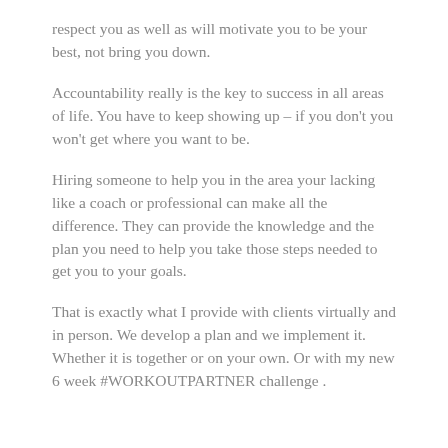respect you as well as will motivate you to be your best, not bring you down.
Accountability really is the key to success in all areas of life. You have to keep showing up – if you don't you won't get where you want to be.
Hiring someone to help you in the area your lacking like a coach or professional can make all the difference. They can provide the knowledge and the plan you need to help you take those steps needed to get you to your goals.
That is exactly what I provide with clients virtually and in person. We develop a plan and we implement it. Whether it is together or on your own. Or with my new 6 week #WORKOUTPARTNER challenge .